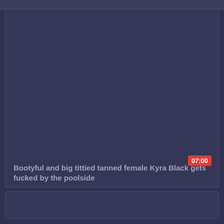[Figure (screenshot): Dark blue-grey video thumbnail placeholder with a red duration badge showing 07:00 in the bottom right corner]
Bootyful and big tittied tanned female Kyra Black gets fucked by the poolside
[Figure (screenshot): Dark blue-grey video thumbnail placeholder card at the bottom of the page]